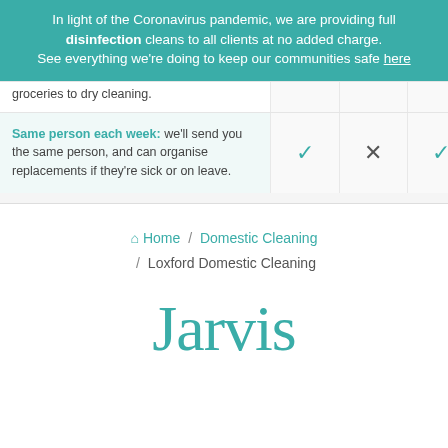In light of the Coronavirus pandemic, we are providing full disinfection cleans to all clients at no added charge. See everything we're doing to keep our communities safe here
groceries to dry cleaning.
Same person each week: we'll send you the same person, and can organise replacements if they're sick or on leave.
Home / Domestic Cleaning / Loxford Domestic Cleaning
Jarvis